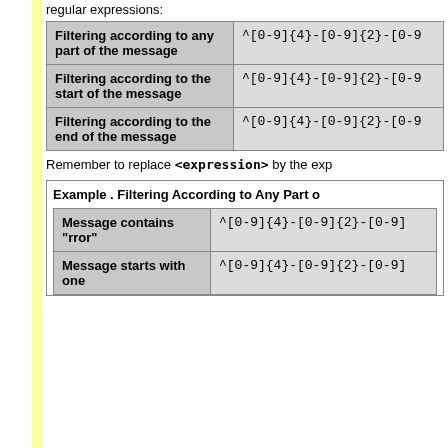regular expressions:
| Filtering type | Expression |
| --- | --- |
| Filtering according to any part of the message | ^[0-9]{4}-[0-9]{2}-[0-9… |
| Filtering according to the start of the message | ^[0-9]{4}-[0-9]{2}-[0-9… |
| Filtering according to the end of the message | ^[0-9]{4}-[0-9]{2}-[0-9… |
Remember to replace <expression> by the expression…
Example . Filtering According to Any Part o…
| Condition | Expression |
| --- | --- |
| Message contains "rror" | ^[0-9]{4}-[0-9]{2}-[0-9]… |
| Message starts with one… | ^[0-9]{4}-[0-9]{2}-[0-9]… |